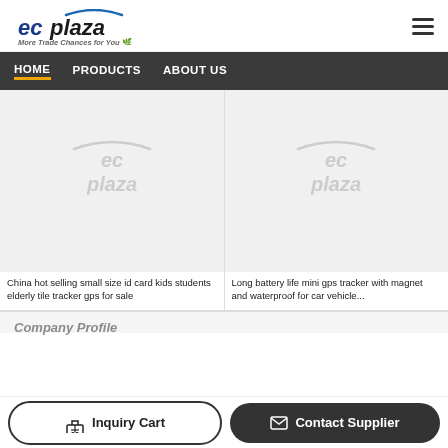[Figure (logo): ECPlaza logo with tagline 'More Trade Chances for You']
HOME   PRODUCTS   ABOUT US
[Figure (photo): Product image placeholder with ecplaza watermark for 'China hot selling small size id card kids students elderly tile tracker gps for sale']
China hot selling small size id card kids students elderly tile tracker gps for sale
[Figure (photo): Product image placeholder with ecplaza watermark for 'Long battery life mini gps tracker with magnet and waterproof for car vehicle...']
Long battery life mini gps tracker with magnet and waterproof for car vehicle...
Company Profile
Inquiry Cart
Contact Supplier